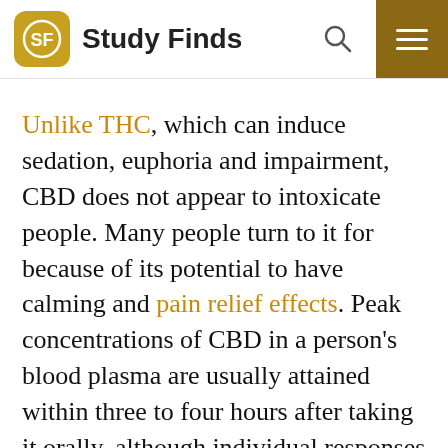Study Finds
Unlike THC, which can induce sedation, euphoria and impairment, CBD does not appear to intoxicate people. Many people turn to it for because of its potential to have calming and pain relief effects. Peak concentrations of CBD in a person's blood plasma are usually attained within three to four hours after taking it orally, although individual responses vary.
CBD use is increasing across Western nations. Other University of Sydney research shows that around 55,000 requests to access medicinal CBD